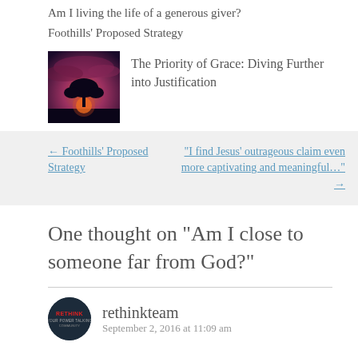Am I living the life of a generous giver?
Foothills' Proposed Strategy
[Figure (photo): Thumbnail image of a tree silhouette against a purple and orange sunset sky]
The Priority of Grace: Diving Further into Justification
← Foothills' Proposed Strategy
“I find Jesus’ outrageous claim even more captivating and meaningful…” →
One thought on “Am I close to someone far from God?”
[Figure (logo): Circular dark avatar with RETHINK text in red]
rethinkteam
September 2, 2016 at 11:09 am